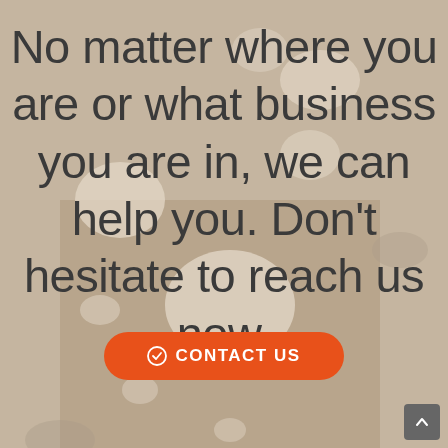[Figure (photo): Overhead/aerial view of people sitting around a wooden table in a restaurant or café, with dishes, cups, and food. The image has a warm, muted brown-gray tone with a semi-transparent light overlay.]
No matter where you are or what business you are in, we can help you. Don't hesitate to reach us now.
CONTACT US